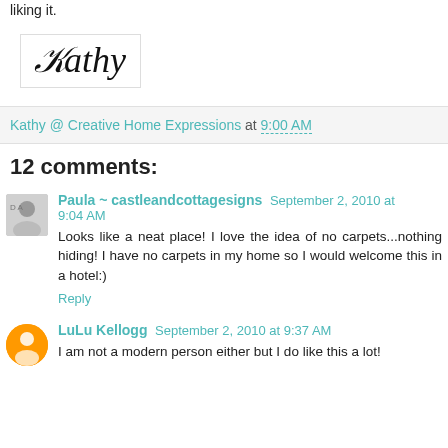liking it.
[Figure (illustration): Cursive signature reading 'Kathy' in decorative script]
Kathy @ Creative Home Expressions at 9:00 AM
12 comments:
Paula ~ castleandcottagesigns September 2, 2010 at 9:04 AM
Looks like a neat place! I love the idea of no carpets...nothing hiding! I have no carpets in my home so I would welcome this in a hotel:)
Reply
LuLu Kellogg September 2, 2010 at 9:37 AM
I am not a modern person either but I do like this a lot!